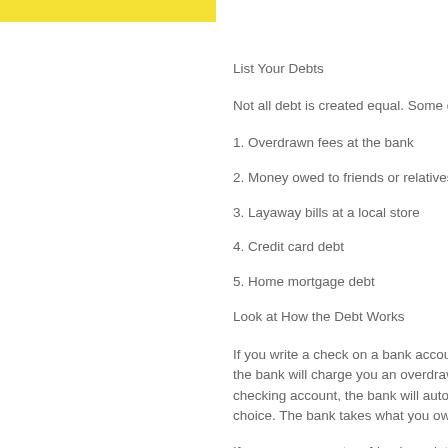List Your Debts
Not all debt is created equal. Some debts yo
1. Overdrawn fees at the bank
2. Money owed to friends or relatives
3. Layaway bills at a local store
4. Credit card debt
5. Home mortgage debt
Look at How the Debt Works
If you write a check on a bank account and the bank will charge you an overdrawn fee. checking account, the bank will automaticall choice. The bank takes what you owe.
If you own money to a friend or relative, you Explain your situation and ask to write up a pay and when, until your debt is paid off. Be the loan to you a gift (and not pay them ba